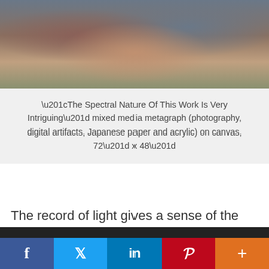[Figure (photo): Blurred abstract photo showing warm reddish-brown and cool blue-grey tones, top portion of a mixed media artwork]
“The Spectral Nature Of This Work Is Very Intriguing” mixed media metagraph (photography, digital artifacts, Japanese paper and acrylic) on canvas, 72” x 48”
The record of light gives a sense of the subject, but the complex and lyrical color and textural overlay is
We use cookies to ensure that we give you the best experience on our website. If you continue to use this site we will assume that you are happy with it.